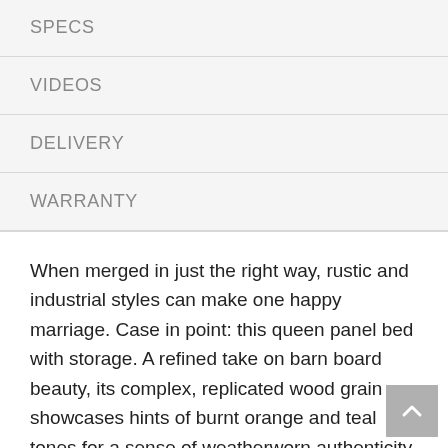SPECS
VIDEOS
DELIVERY
WARRANTY
When merged in just the right way, rustic and industrial styles can make one happy marriage. Case in point: this queen panel bed with storage. A refined take on barn board beauty, its complex, replicated wood grain showcases hints of burnt orange and teal tones for a sense of weatherworn authenticity. Love to read in bed" You're sure to find the pair of retro-chic light sconces and USB plug-ins on the open-slat style headboard such a bright idea. Underneath the bed: four smooth-gliding drawers and